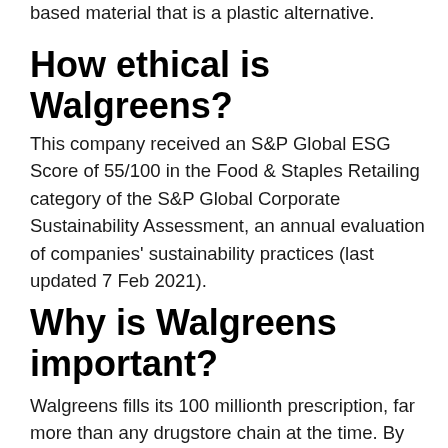based material that is a plastic alternative.
How ethical is Walgreens?
This company received an S&P Global ESG Score of 55/100 in the Food & Staples Retailing category of the S&P Global Corporate Sustainability Assessment, an annual evaluation of companies' sustainability practices (last updated 7 Feb 2021).
Why is Walgreens important?
Walgreens fills its 100 millionth prescription, far more than any drugstore chain at the time. By 1980, Walgreens reaches 500...